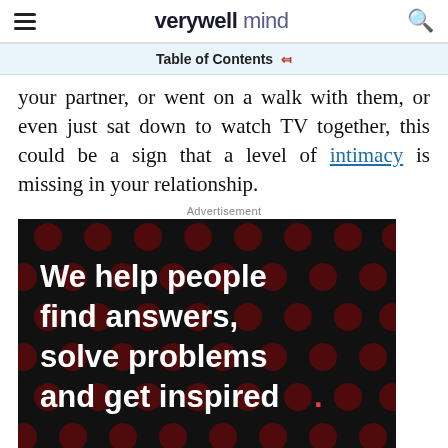verywell mind
Table of Contents
your partner, or went on a walk with them, or even just sat down to watch TV together, this could be a sign that a level of intimacy is missing in your relationship.
Advertisement
[Figure (photo): Advertisement banner for Dotdash Meredith reading 'We help people find answers, solve problems and get inspired.' on a dark background with dark red dots pattern.]